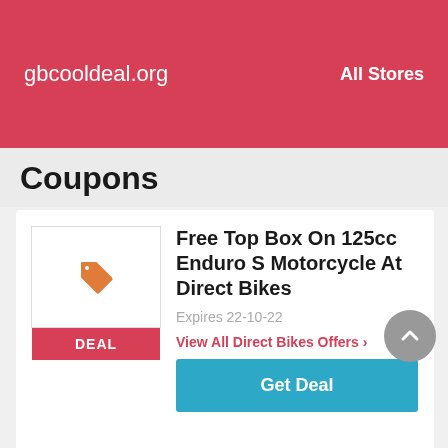gbcooldeal.org   All Stores
Coupons
Free Top Box On 125cc Enduro S Motorcycle At Direct Bikes
Expires 22-10-22
View All Direct Bikes Offers ›
Get Deal